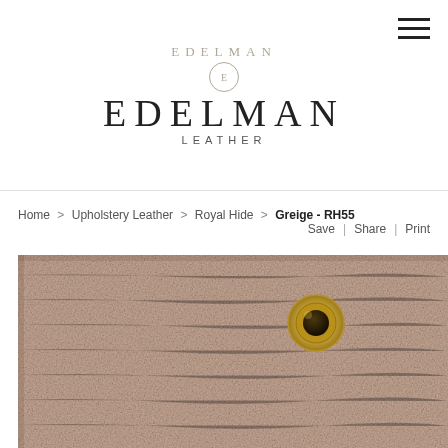[Figure (logo): Edelman Leather logo with stylized E in circle above large EDELMAN text and LEATHER subtitle]
Home > Upholstery Leather > Royal Hide > Greige - RH55
Save | Share | Print
[Figure (photo): Close-up photograph of greige/beige colored leather swatch (Royal Hide RH55) with a gold metal grommet/eyelet in the upper right area of the swatch]